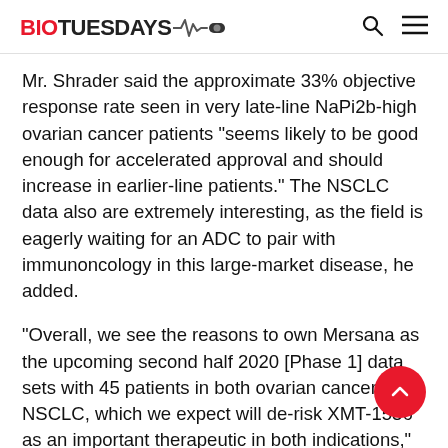BIOTUESDAYS
Mr. Shrader said the approximate 33% objective response rate seen in very late-line NaPi2b-high ovarian cancer patients “seems likely to be good enough for accelerated approval and should increase in earlier-line patients.” The NSCLC data also are extremely interesting, as the field is eagerly waiting for an ADC to pair with immunoncology in this large-market disease, he added.
“Overall, we see the reasons to own Mersana as the upcoming second half 2020 [Phase 1] data sets with 45 patients in both ovarian cancer and NSCLC, which we expect will de-risk XMT-1536 as an important therapeutic in both indications,” Mr. Shrader said. This data should provide additional upside by further validating the